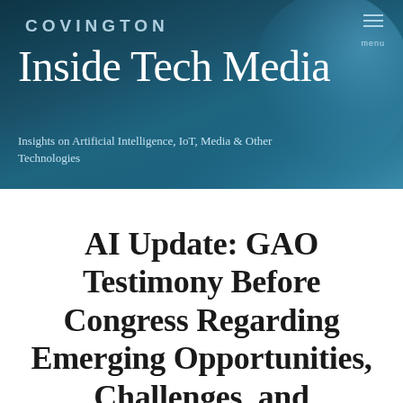COVINGTON
Inside Tech Media
Insights on Artificial Intelligence, IoT, Media & Other Technologies
AI Update: GAO Testimony Before Congress Regarding Emerging Opportunities, Challenges, and Implications for Policy and Research with